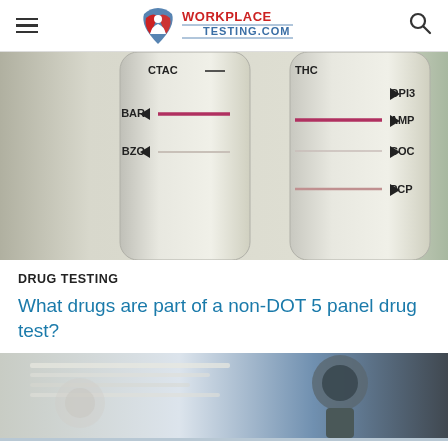WORKPLACETESTING.COM
[Figure (photo): Close-up photo of a multi-panel drug test card/strip showing labeled test bands: BAR, BZO on the left panel and OPI3, AMP, COC, PCP, THC on the right panel, with pink/red lines visible at BAR and AMP positions.]
DRUG TESTING
What drugs are part of a non-DOT 5 panel drug test?
[Figure (photo): Bottom partial photo showing laboratory equipment including what appears to be a microscope and papers/documents.]